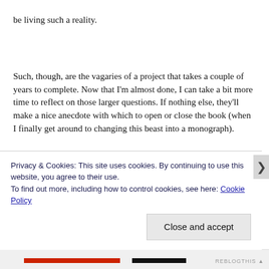be living such a reality.
Such, though, are the vagaries of a project that takes a couple of years to complete. Now that I'm almost done, I can take a bit more time to reflect on those larger questions. If nothing else, they'll make a nice anecdote with which to open or close the book (when I finally get around to changing this beast into a monograph).
Privacy & Cookies: This site uses cookies. By continuing to use this website, you agree to their use.
To find out more, including how to control cookies, see here: Cookie Policy